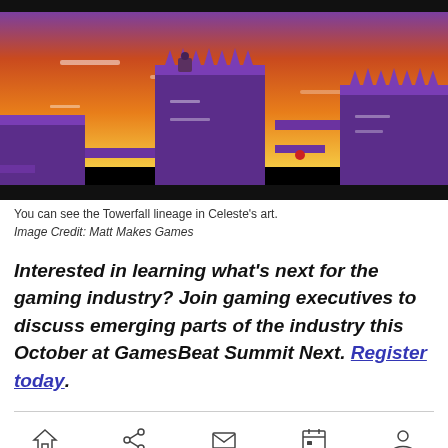[Figure (screenshot): Pixel art game screenshot from Celeste, showing a purple castle/tower environment with orange and yellow sunset sky background, platformer game style with purple stone structures and spikes]
You can see the Towerfall lineage in Celeste's art.
Image Credit: Matt Makes Games
Interested in learning what's next for the gaming industry? Join gaming executives to discuss emerging parts of the industry this October at GamesBeat Summit Next. Register today.
[Figure (other): Navigation bar with home, share, mail, calendar, and profile icons]